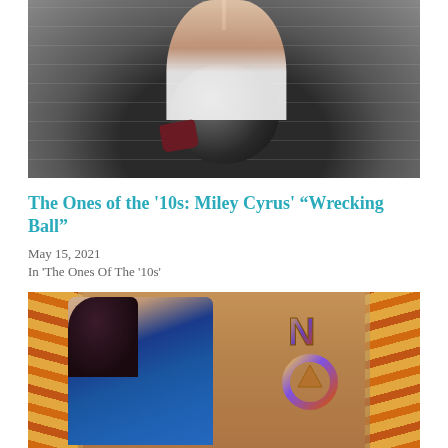[Figure (photo): Photo of a woman sitting on a large wrecking ball against a concrete wall background, wearing white and red boots]
The Ones of the '10s: Miley Cyrus' “Wrecking Ball”
May 15, 2021
In 'The Ones Of The '10s'
[Figure (photo): Composite image showing a woman with dark hair in a tiger-print jacket on the left, and a stylized symbol/logo on the right against an orange tiger-stripe background]